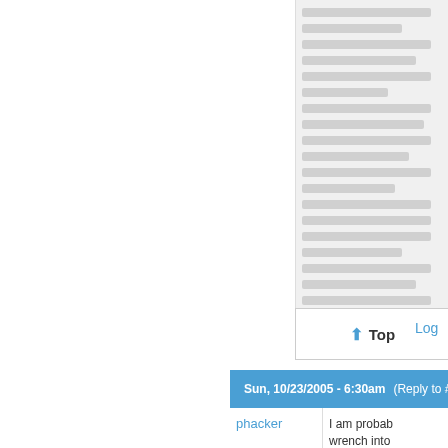[Figure (screenshot): Right sidebar panel with grey background showing placeholder content lines]
Top
Log
Sun, 10/23/2005 - 6:30am (Reply to #14)
phacker
I am prob wrench into did the deci